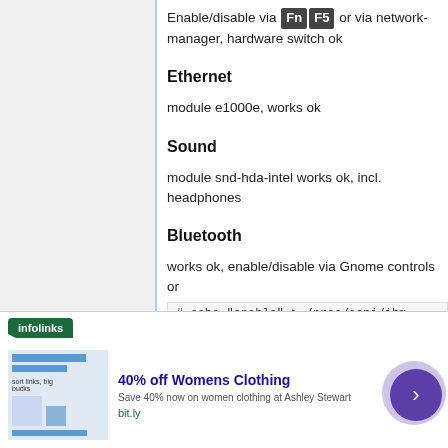Enable/disable via Fn F5 or via network-manager, hardware switch ok
Ethernet
module e1000e, works ok
Sound
module snd-hda-intel works ok, incl. headphones
Bluetooth
works ok, enable/disable via Gnome controls or
# echo "enable" > /proc/acpi/ibm
[Figure (other): infolinks advertisement banner showing 40% off Womens Clothing from bit.ly]